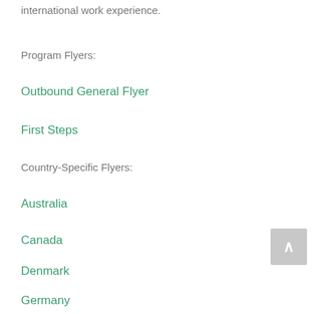international work experience.
Program Flyers:
Outbound General Flyer
First Steps
Country-Specific Flyers:
Australia
Canada
Denmark
Germany